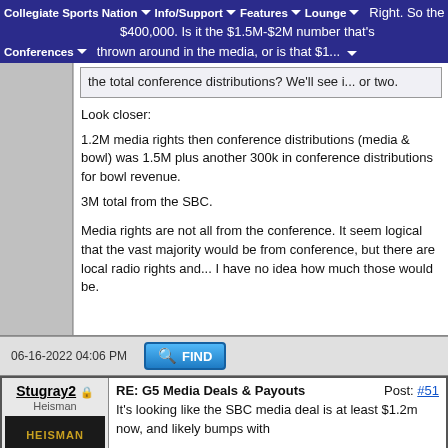Collegiate Sports Nation | Info/Support | Features | Lounge | Conferences
Right. So the TV contract is probably higher... $400,000. Is it the $1.5M-$2M number that's thrown around in the media, or is that $1... the total conference distributions? We'll see i... or two.
Look closer:

1.2M media rights then conference distributions (media & bowl) was 1.5M plus another 300k in conference distributions for bowl revenue.

3M total from the SBC.
Media rights are not all from the conference. It seem logical that the vast majority would be from conference, but there are local radio rights and... I have no idea how much those would be.
06-16-2022 04:06 PM
Stugray2 — Heisman
RE: G5 Media Deals & Payouts  Post: #51
It's looking like the SBC media deal is at least $1.2m now, and likely bumps with